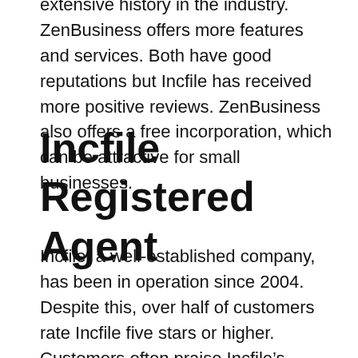extensive history in the industry. ZenBusiness offers more features and services. Both have good reputations but Incfile has received more positive reviews. ZenBusiness also offers a free incorporation, which can be attractive for small businesses.
Incfile Registered Agent
Incfile, a well-established company, has been in operation since 2004. Despite this, over half of customers rate Incfile five stars or higher. Customers often praise Incfile’s responsiveness to questions and comments and for its friendly, professional staff. There are also numerous customer reviews